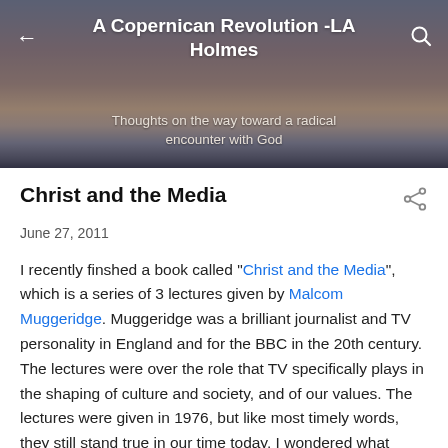A Copernican Revolution -LA Holmes
Thoughts on the way toward a radical encounter with God
Christ and the Media
June 27, 2011
I recently finshed a book called "Christ and the Media", which is a series of 3 lectures given by Malcom Muggeridge. Muggeridge was a brilliant journalist and TV personality in England and for the BBC in the 20th century. The lectures were over the role that TV specifically plays in the shaping of culture and society, and of our values. The lectures were given in 1976, but like most timely words, they still stand true in our time today. I wondered what Muggeridge would say could he see our society now, and the effect that media and the internet